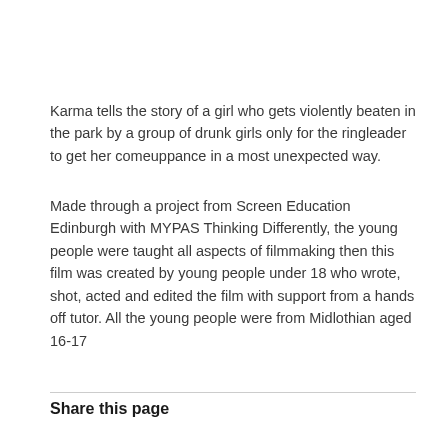Karma tells the story of a girl who gets violently beaten in the park by a group of drunk girls only for the ringleader to get her comeuppance in a most unexpected way.
Made through a project from Screen Education Edinburgh with MYPAS Thinking Differently, the young people were taught all aspects of filmmaking then this film was created by young people under 18 who wrote, shot, acted and edited the film with support from a hands off tutor. All the young people were from Midlothian aged 16-17
Share this page